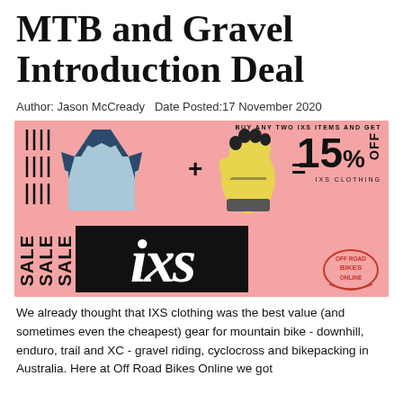MTB and Gravel Introduction Deal
Author: Jason McCready  Date Posted:17 November 2020
[Figure (infographic): IXS clothing promotion banner: pink background with a cycling jersey and yellow gloves, showing 'Buy any two IXS items and get 15% off IXS clothing'. Bottom section shows 'SALE' repeated vertically, IXS brand logo in black, and 'Off Road Bikes Online' logo in red.]
We already thought that IXS clothing was the best value (and sometimes even the cheapest) gear for mountain bike - downhill, enduro, trail and XC - gravel riding, cyclocross and bikepacking in Australia. Here at Off Road Bikes Online we got